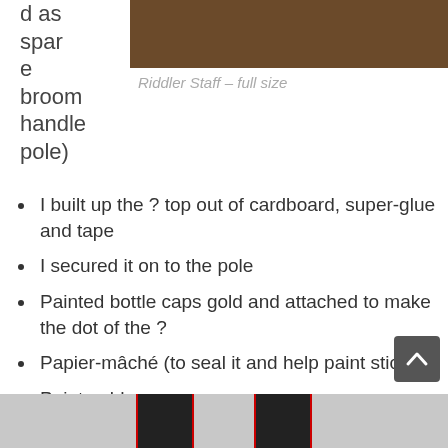[Figure (photo): Top portion of a photo showing a wooden surface, partially cropped. White space on left side with partial text 'd as spar e broom handle pole)']
Riddler Staff – full size
d as spare broom handle pole)
I built up the ? top out of cardboard, super-glue and tape
I secured it on to the pole
Painted bottle caps gold and attached to make the dot of the ?
Papier-mâché (to seal it and help paint stick)
Paint gold
PVA glue top coat
[Figure (photo): Bottom strip showing two smartphone/device cards with red borders on a grey background, partially visible]